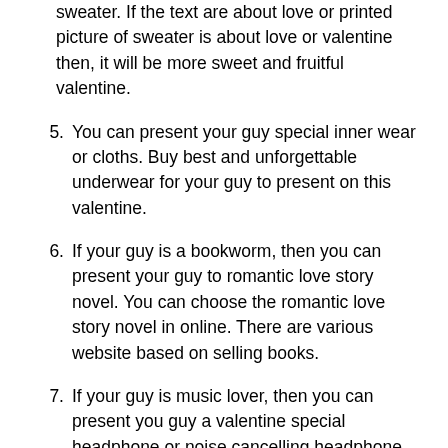sweater. If the text are about love or printed picture of sweater is about love or valentine then, it will be more sweet and fruitful valentine.
5. You can present your guy special inner wear or cloths. Buy best and unforgettable underwear for your guy to present on this valentine.
6. If your guy is a bookworm, then you can present your guy to romantic love story novel. You can choose the romantic love story novel in online. There are various website based on selling books.
7. If your guy is music lover, then you can present you guy a valentine special headphone or noise cancelling headphone.
Valentines Day Presents for Guys on the Valentine's Day 2022